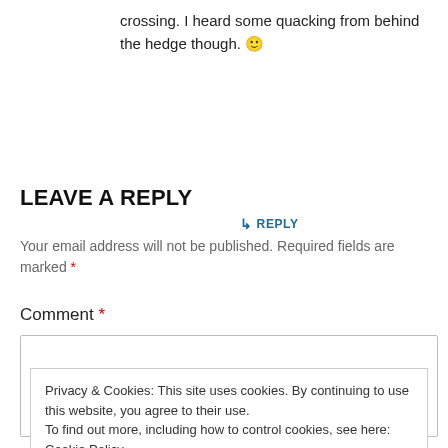crossing. I heard some quacking from behind the hedge though. 🙂
↳ REPLY
LEAVE A REPLY
Your email address will not be published. Required fields are marked *
Comment *
Privacy & Cookies: This site uses cookies. By continuing to use this website, you agree to their use. To find out more, including how to control cookies, see here: Cookie Policy
Close and accept